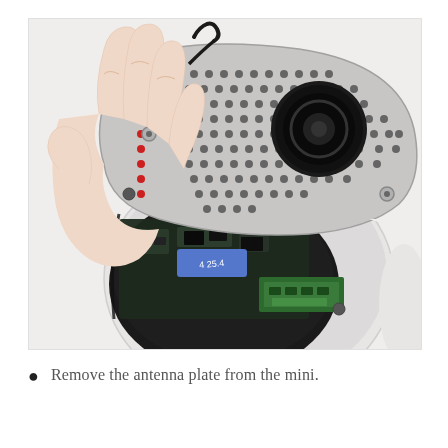[Figure (photo): A hand lifting a perforated metal antenna plate from an open Mac mini, revealing the internal circuit board, logic board components, RAM module, and fan beneath the plate. The Mac mini is seen from above with its bottom cover removed.]
Remove the antenna plate from the mini.